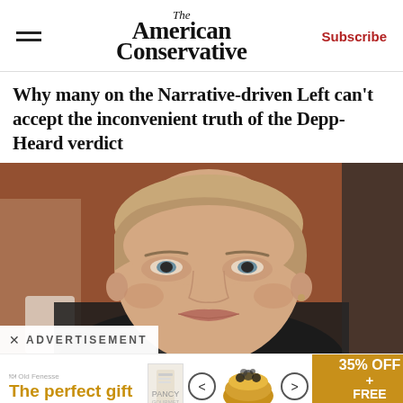The American Conservative | Subscribe
Why many on the Narrative-driven Left can't accept the inconvenient truth of the Depp-Heard verdict
[Figure (photo): A woman with blonde hair pulled back, wearing a dark jacket, with a serious expression, appearing to be in a courtroom setting. Amber Heard at the Depp-Heard trial.]
× ADVERTISEMENT
The perfect gift   35% OFF + FREE SHIPPING